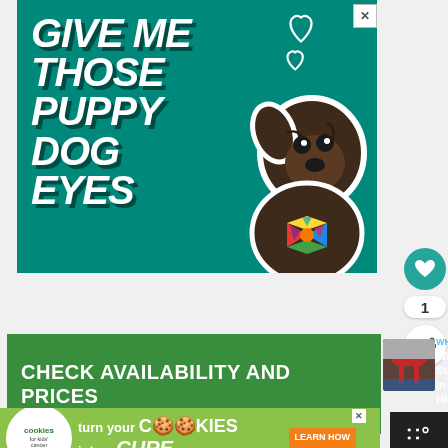[Figure (illustration): Advertisement banner on teal/green background with large italic white bold text reading 'GIVE ME THOSE PUPPY DOG EYES' with heart outlines in upper right corner and a brindle dog wearing a colorful bow tie on the right side]
[Figure (infographic): Green banner reading 'CHECK AVAILABILITY AND PRICES' with a 'WHAT'S NEXT' sidebar showing 'Where to Stay in Hiroshima...' with a thumbnail image of a Japanese shrine]
[Figure (illustration): Cookies for Kids' Cancer advertisement on green background reading 'turn your COOKIES into a CURE LEARN HOW' with the organization logo on the left]